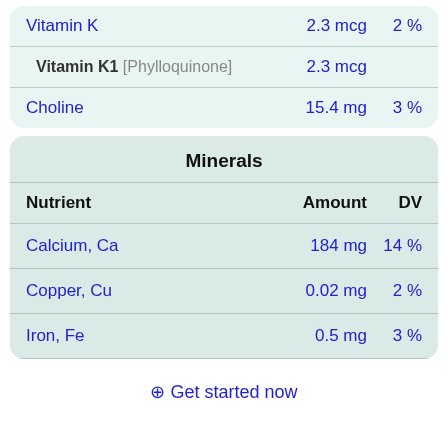| Nutrient | Amount | DV |
| --- | --- | --- |
| Vitamin K | 2.3 mcg | 2 % |
| Vitamin K1 [Phylloquinone] | 2.3 mcg |  |
| Choline | 15.4 mg | 3 % |
Minerals
| Nutrient | Amount | DV |
| --- | --- | --- |
| Calcium, Ca | 184 mg | 14 % |
| Copper, Cu | 0.02 mg | 2 % |
| Iron, Fe | 0.5 mg | 3 % |
⊕ Get started now